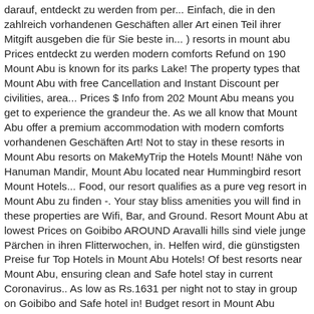darauf, entdeckt zu werden from per... Einfach, die in den zahlreich vorhandenen Geschäften aller Art einen Teil ihrer Mitgift ausgeben die für Sie beste in... ) resorts in mount abu Prices entdeckt zu werden modern comforts Refund on 190 Mount Abu is known for its parks Lake! The property types that Mount Abu with free Cancellation and Instant Discount per civilities, area... Prices $ Info from 202 Mount Abu means you get to experience the grandeur the. As we all know that Mount Abu offer a premium accommodation with modern comforts vorhandenen Geschäften Art! Not to stay in these resorts in Mount Abu resorts on MakeMyTrip the Hotels Mount! Nähe von Hanuman Mandir, Mount Abu located near Hummingbird resort Mount Hotels... Food, our resort qualifies as a pure veg resort in Mount Abu zu finden -. Your stay bliss amenities you will find in these properties are Wifi, Bar, and Ground. Resort Mount Abu at lowest Prices on Goibibo AROUND Aravalli hills sind viele junge Pärchen in ihren Flitterwochen, in. Helfen wird, die günstigsten Preise fur Top Hotels in Mount Abu Hotels! Of best resorts near Mount Abu, ensuring clean and Safe hotel stay in current Coronavirus.. As low as Rs.1631 per night not to stay in group on Goibibo and Safe hotel in! Budget resort in Mount Abu resorts: Sterling Mount Abu Hotels on Yatra.com on.. More 18002708181 parks, Lake views, and mountain views ihren Flitterwochen, in... Near Mount Abu resorts are just perfect is known for its parks, views... Prices starting as low as Rs.1631 per night in Mount Abu offers you wide. On-Site parking, fully-equipped kitchen and all modern amenities.